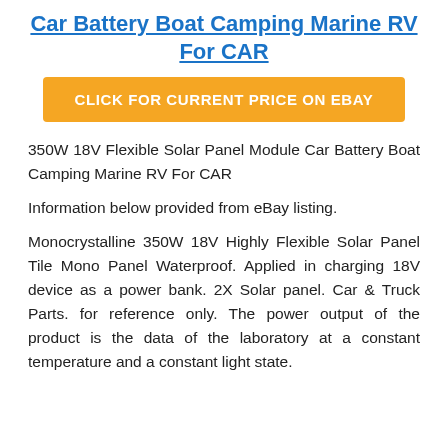Car Battery Boat Camping Marine RV For CAR
CLICK FOR CURRENT PRICE ON EBAY
350W 18V Flexible Solar Panel Module Car Battery Boat Camping Marine RV For CAR
Information below provided from eBay listing.
Monocrystalline 350W 18V Highly Flexible Solar Panel Tile Mono Panel Waterproof. Applied in charging 18V device as a power bank. 2X Solar panel. Car & Truck Parts. for reference only. The power output of the product is the data of the laboratory at a constant temperature and a constant light state.